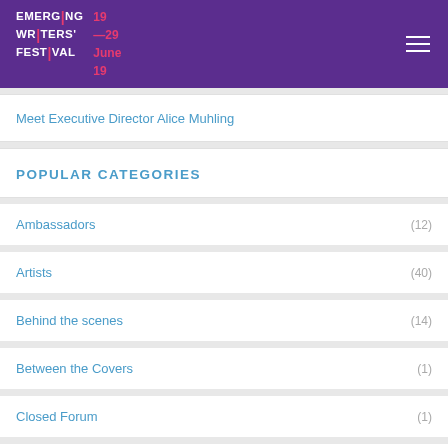EMERGING WRITERS' FESTIVAL 19 — 29 June 19
Meet Executive Director Alice Muhling
POPULAR CATEGORIES
Ambassadors (12)
Artists (40)
Behind the scenes (14)
Between the Covers (1)
Closed Forum (1)
Creative producers (34)
Donate (1)